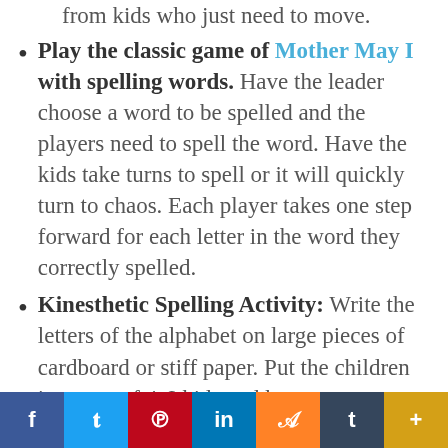motor spelling activity is a great activity from kids who just need to move.
Play the classic game of Mother May I with spelling words. Have the leader choose a word to be spelled and the players need to spell the word. Have the kids take turns to spell or it will quickly turn to chaos. Each player takes one step forward for each letter in the word they correctly spelled.
Kinesthetic Spelling Activity: Write the letters of the alphabet on large pieces of cardboard or stiff paper. Put the children in teams of 4-6 kids and have
f  t  p  in  m  t  +